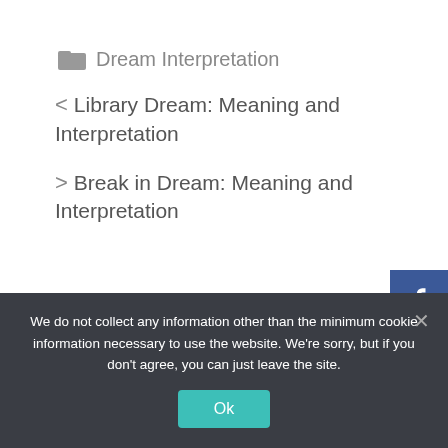🗂 Dream Interpretation
< Library Dream: Meaning and Interpretation
> Break in Dream: Meaning and Interpretation
[Figure (infographic): Social media sharing sidebar with Facebook, Twitter, LinkedIn, Pinterest, Reddit icons]
We do not collect any information other than the minimum cookie information necessary to use the website. We're sorry, but if you don't agree, you can just leave the site.
Ok